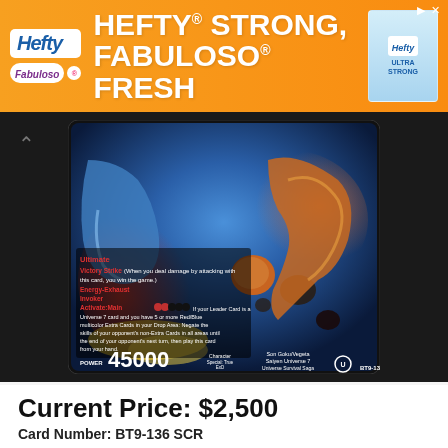[Figure (photo): Hefty brand advertisement banner with orange background. Text reads 'HEFTY STRONG, FABULOSO FRESH' with Hefty and Fabuloso logos and product image on right.]
[Figure (photo): Dragon Ball Super trading card BT9-136 SCR showing Son Goku and Vegeta, Saiyen Universe 7, Universe Survival Saga. Card shows Power 45000, with Ultimate Victory Strike, Energy-Exhaust Invoker abilities. Colorful holographic artwork.]
Current Price: $2,500
Card Number: BT9-136 SCR